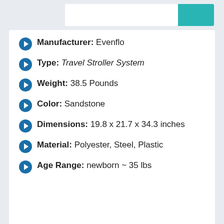Manufacturer: Evenflo
Type: Travel Stroller System
Weight: 38.5 Pounds
Color: Sandstone
Dimensions: 19.8 x 21.7 x 34.3 inches
Material: Polyester, Steel, Plastic
Age Range: newborn ~ 35 lbs
Bottom Line : This stroller has 6 modes with many